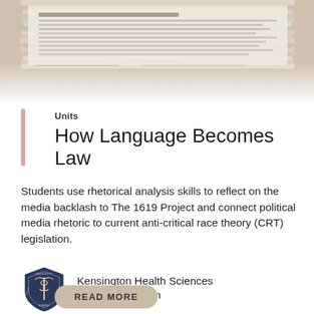[Figure (photo): Stack of newspapers bundled together, viewed from above at an angle]
Units
How Language Becomes Law
Students use rhetorical analysis skills to reflect on the media backlash to The 1619 Project and connect political media rhetoric to current anti-critical race theory (CRT) legislation.
[Figure (logo): Kensington Health Sciences Academy shield logo]
Kensington Health Sciences Humanities Team
READ MORE